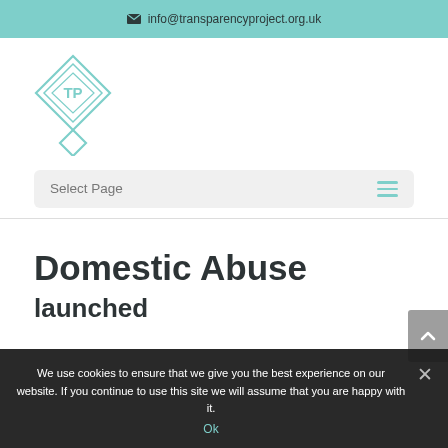info@transparencyproject.org.uk
[Figure (logo): Transparency Project logo — teal diamond shape with 'TP' text inside]
Select Page
Domestic Abuse
launched
We use cookies to ensure that we give you the best experience on our website. If you continue to use this site we will assume that you are happy with it.
Ok